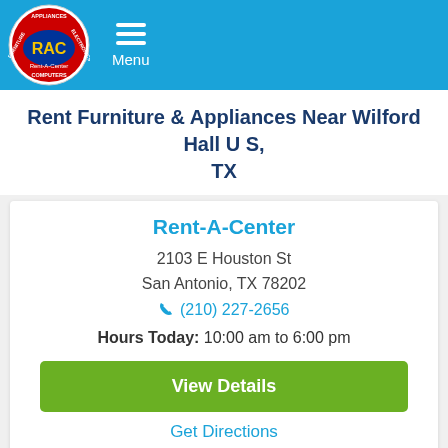Rent-A-Center — Menu
Rent Furniture & Appliances Near Wilford Hall U S, TX
Rent-A-Center
2103 E Houston St
San Antonio, TX 78202
(210) 227-2656
Hours Today: 10:00 am to 6:00 pm
View Details
Get Directions
Map   Details   Call